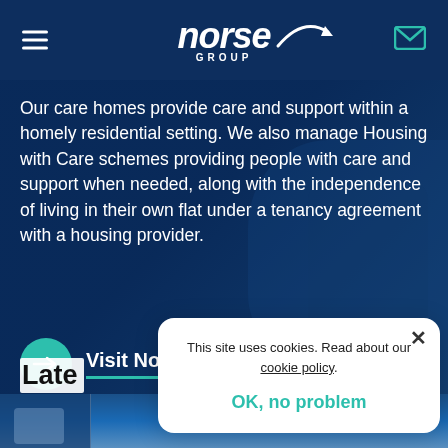Norse Group
Our care homes provide care and support within a homely residential setting. We also manage Housing with Care schemes providing people with care and support when needed, along with the independence of living in their own flat under a tenancy agreement with a housing provider.
Visit NorseCare
Late
This site uses cookies. Read about our cookie policy.
OK, no problem